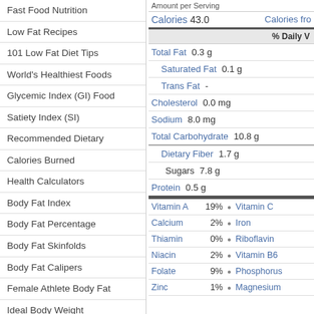Fast Food Nutrition
Low Fat Recipes
101 Low Fat Diet Tips
World's Healthiest Foods
Glycemic Index (GI) Food
Satiety Index (SI)
Recommended Dietary
Calories Burned
Health Calculators
Body Fat Index
Body Fat Percentage
Body Fat Skinfolds
Body Fat Calipers
Female Athlete Body Fat
Ideal Body Weight
Body Frame Calculator
Body Mass Index (BMI)
Body Mass Index (BMI) FAQ
Waist to Hip Ratio (WHR)
| Nutrient | Amount |
| --- | --- |
| Amount per Serving |  |
| Calories | 43.0 |
| Calories from |  |
| % Daily V |  |
| Total Fat | 0.3 g |
| Saturated Fat | 0.1 g |
| Trans Fat | - |
| Cholesterol | 0.0 mg |
| Sodium | 8.0 mg |
| Total Carbohydrate | 10.8 g |
| Dietary Fiber | 1.7 g |
| Sugars | 7.8 g |
| Protein | 0.5 g |
| Vitamin A | 19% |
| Vitamin C |  |
| Calcium | 2% |
| Iron |  |
| Thiamin | 0% |
| Riboflavin |  |
| Niacin | 2% |
| Vitamin B6 |  |
| Folate | 9% |
| Phosphorus |  |
| Zinc | 1% |
| Magnesium |  |